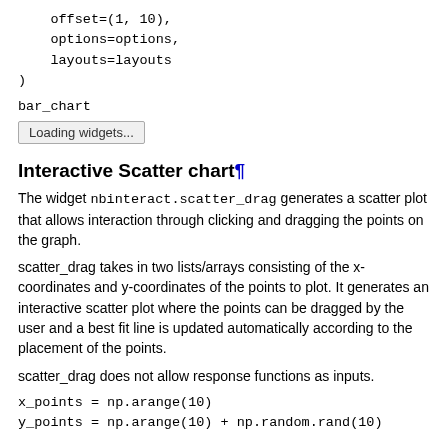offset=(1, 10),
    options=options,
    layouts=layouts
)
bar_chart
Loading widgets...
Interactive Scatter chart¶
The widget nbinteract.scatter_drag generates a scatter plot that allows interaction through clicking and dragging the points on the graph.
scatter_drag takes in two lists/arrays consisting of the x-coordinates and y-coordinates of the points to plot. It generates an interactive scatter plot where the points can be dragged by the user and a best fit line is updated automatically according to the placement of the points.
scatter_drag does not allow response functions as inputs.
x_points = np.arange(10)
y_points = np.arange(10) + np.random.rand(10)